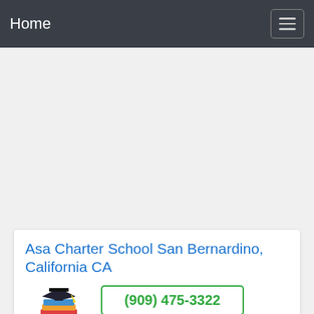Home
[Figure (other): Advertisement/empty gray area]
Asa Charter School San Bernardino, California CA
[Figure (logo): Our Courses logo with graduation cap and books]
Preview
(909) 475-3322
California › San Bernardino › San Bernardino City Unified › Asa Charter School. Asa Charter School Unclaimed. 3512